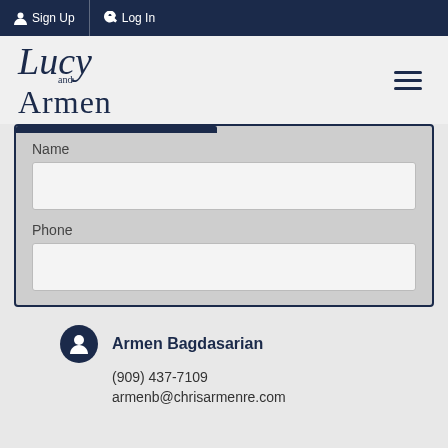Sign Up  Log In
[Figure (logo): Lucy and Armen real estate logo in dark navy serif/script font]
Name
Phone
Armen Bagdasarian
(909) 437-7109
armenb@chrisarmenre.com